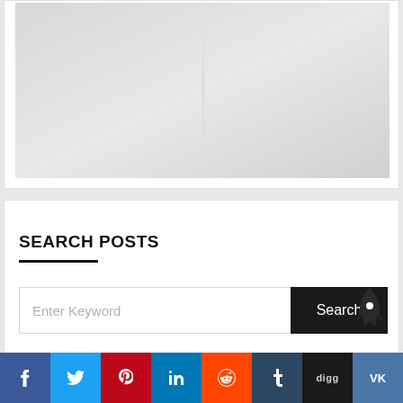[Figure (photo): Large gray placeholder image area at top of page inside a white card]
SEARCH POSTS
[Figure (screenshot): Search bar UI with 'Enter Keyword' placeholder text input and dark 'Search' button, plus rocket icon]
[Figure (infographic): Social sharing bar with buttons for Facebook, Twitter, Pinterest, LinkedIn, Reddit, Tumblr, Digg, VK]